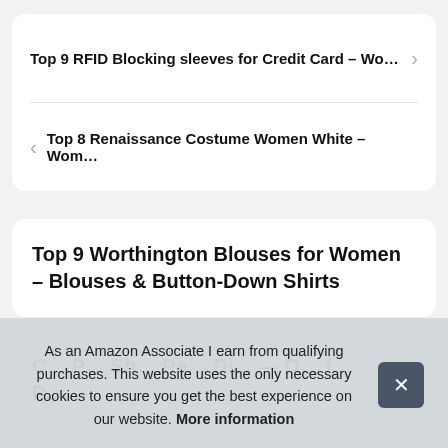Top 9 RFID Blocking sleeves for Credit Card – Wo…
Top 8 Renaissance Costume Women White – Wom…
Top 9 Worthington Blouses for Women – Blouses & Button-Down Shirts
C… P…
As an Amazon Associate I earn from qualifying purchases. This website uses the only necessary cookies to ensure you get the best experience on our website. More information